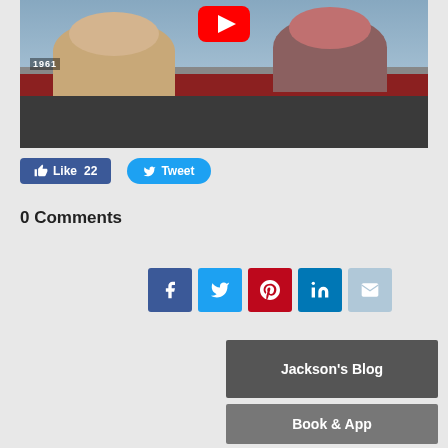[Figure (screenshot): YouTube video thumbnail showing a 1961 scene with a man and woman in a car, red YouTube play button at top center]
[Figure (other): Like button showing thumbs up icon and 'Like 22' in Facebook blue style; Tweet button in Twitter blue style]
0 Comments
[Figure (other): Social share icons: Facebook (dark blue), Twitter (light blue), Pinterest (red), LinkedIn (blue), Email (light blue)]
Jackson's Blog
Book & App